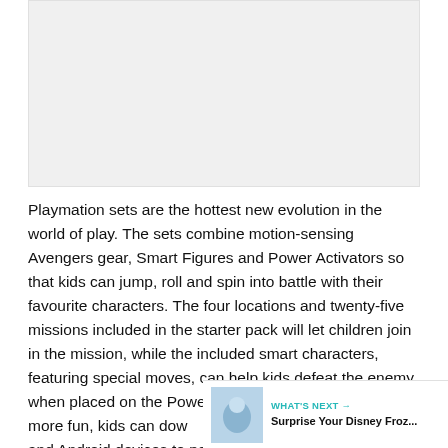[Figure (photo): Image placeholder area at top of page]
Playmation sets are the hottest new evolution in the world of play. The sets combine motion-sensing Avengers gear, Smart Figures and Power Activators so that kids can jump, roll and spin into battle with their favourite characters. The four locations and twenty-five missions included in the starter pack will let children join in the mission, while the included smart characters, featuring special moves, can help kids defeat the enemy when placed on the Power Activator stations. For even more fun, kids can dow free app for iOS and Android devices to power up their gear, track their progress and download new missions!